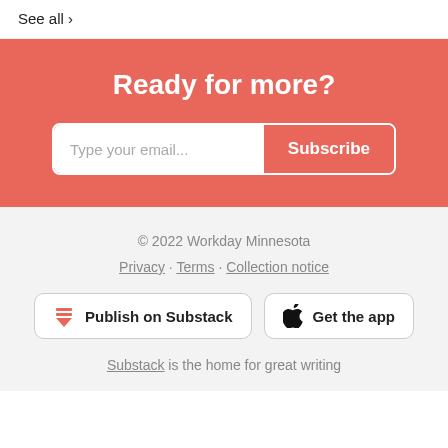See all >
Ready for more?
Type your email... Subscribe
© 2022 Workday Minnesota
Privacy · Terms · Collection notice
Publish on Substack
Get the app
Substack is the home for great writing